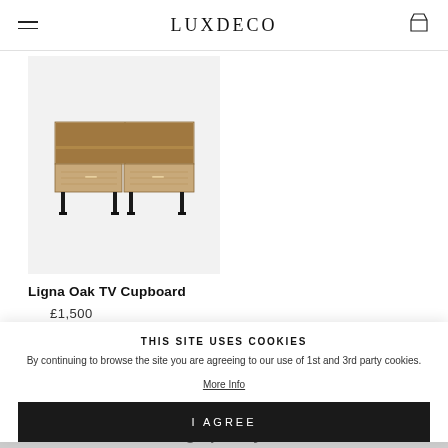LUXDECO
[Figure (photo): Product photo of Ligna Oak TV Cupboard on light grey background. A wide low wooden TV unit with oak veneer doors and black metal legs, shown at slight angle.]
Ligna Oak TV Cupboard
£1,500
THIS SITE USES COOKIES
By continuing to browse the site you are agreeing to our use of 1st and 3rd party cookies.
More Info
I AGREE